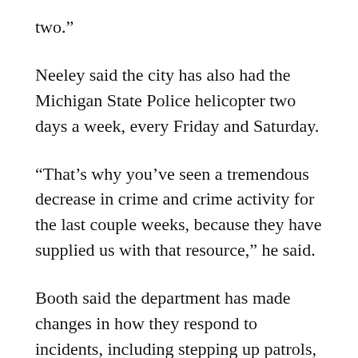two.”
Neeley said the city has also had the Michigan State Police helicopter two days a week, every Friday and Saturday.
“That’s why you’ve seen a tremendous decrease in crime and crime activity for the last couple weeks, because they have supplied us with that resource,” he said.
Booth said the department has made changes in how they respond to incidents, including stepping up patrols, having more police to answer calls as they came in, and tending to hot spots more.